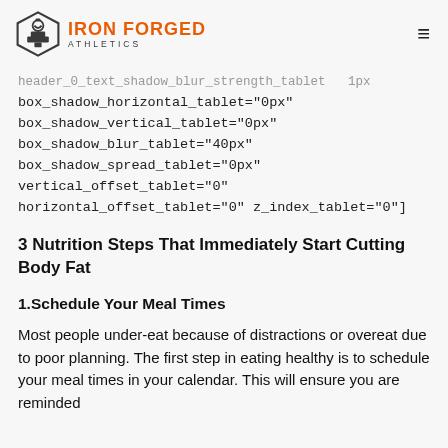IRON FORGED ATHLETICS
header_0_text_shadow_blur_strength_tablet="1px" box_shadow_horizontal_tablet="0px" box_shadow_vertical_tablet="0px" box_shadow_blur_tablet="40px" box_shadow_spread_tablet="0px" vertical_offset_tablet="0" horizontal_offset_tablet="0" z_index_tablet="0"]
3 Nutrition Steps That Immediately Start Cutting Body Fat
1.Schedule Your Meal Times
Most people under-eat because of distractions or overeat due to poor planning. The first step in eating healthy is to schedule your meal times in your calendar. This will ensure you are reminded